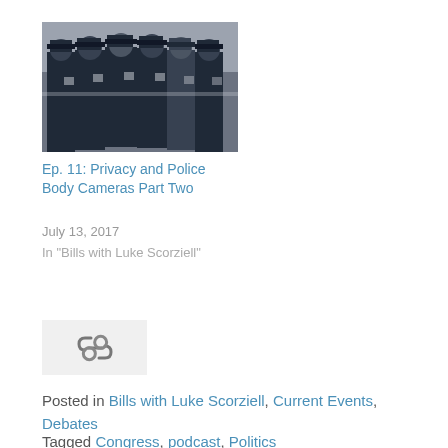[Figure (photo): Row of police officers in dark uniforms standing in formation]
Ep. 11: Privacy and Police Body Cameras Part Two
July 13, 2017
In "Bills with Luke Scorziell"
[Figure (other): Link icon on light gray background]
Posted in Bills with Luke Scorziell, Current Events, Debates
Tagged Congress, podcast, Politics